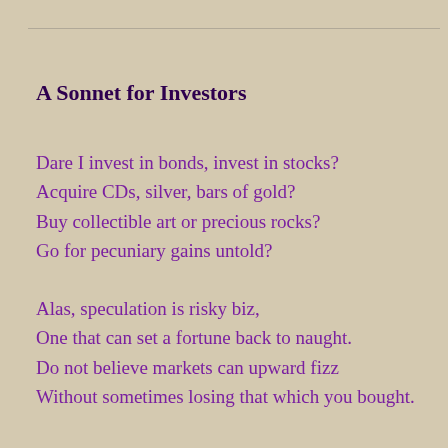A Sonnet for Investors
Dare I invest in bonds, invest in stocks?
Acquire CDs, silver, bars of gold?
Buy collectible art or precious rocks?
Go for pecuniary gains untold?
Alas, speculation is risky biz,
One that can set a fortune back to naught.
Do not believe markets can upward fizz
Without sometimes losing that which you bought.